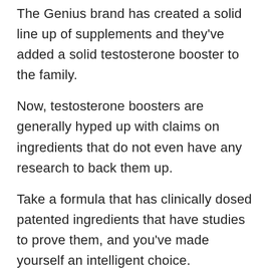The Genius brand has created a solid line up of supplements and they've added a solid testosterone booster to the family.
Now, testosterone boosters are generally hyped up with claims on ingredients that do not even have any research to back them up.
Take a formula that has clinically dosed patented ingredients that have studies to prove them, and you've made yourself an intelligent choice.
Genius Test is the latest supplement that Genius Supplements recently released and we're sure it's the best product for so the success story of